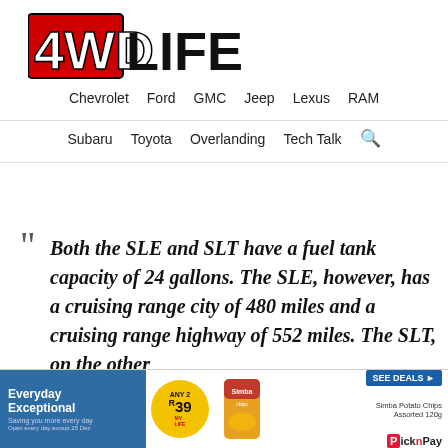[Figure (logo): 4WD LIFE logo — '4WD' in bold red block letters with black outline, 'LIFE' in large black block letters]
Chevrolet   Ford   GMC   Jeep   Lexus   RAM
Subaru   Toyota   Overlanding   Tech Talk
" Both the SLE and SLT have a fuel tank capacity of 24 gallons. The SLE, however, has a cruising range city of 480 miles and a cruising range highway of 552 miles. The SLT, on the other hand...
[Figure (illustration): Pick n Pay advertisement banner: Everyday Exceptional, Any 2 $39, Simba Potato Chips Assorted 120g, SEE DEALS button, Pick n Pay logo]